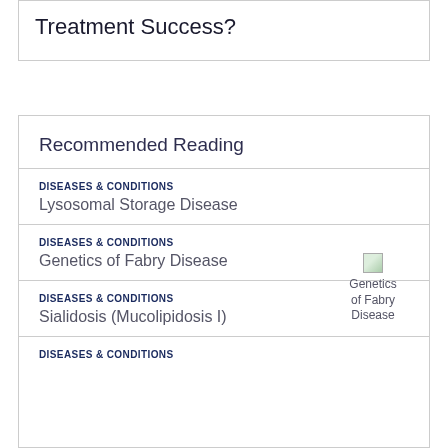Treatment Success?
Recommended Reading
DISEASES & CONDITIONS
Lysosomal Storage Disease
DISEASES & CONDITIONS
Genetics of Fabry Disease
DISEASES & CONDITIONS
Sialidosis (Mucolipidosis I)
DISEASES & CONDITIONS